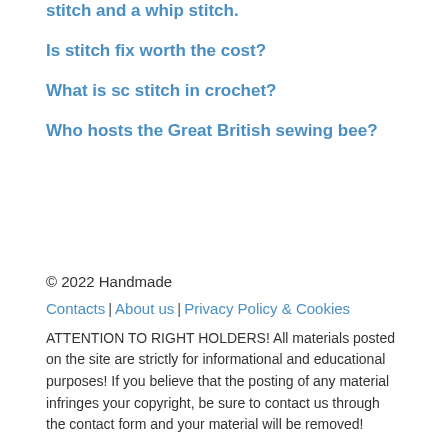stitch and a whip stitch.
Is stitch fix worth the cost?
What is sc stitch in crochet?
Who hosts the Great British sewing bee?
© 2022 Handmade
Contacts | About us | Privacy Policy & Cookies
ATTENTION TO RIGHT HOLDERS! All materials posted on the site are strictly for informational and educational purposes! If you believe that the posting of any material infringes your copyright, be sure to contact us through the contact form and your material will be removed!